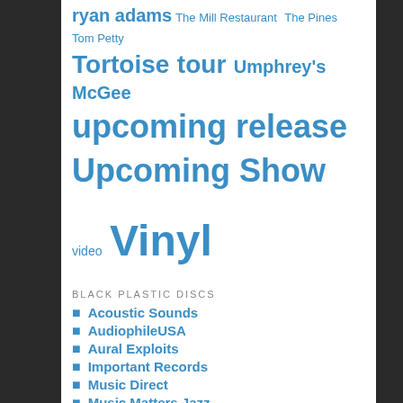ryan adams The Mill Restaurant The Pines Tom Petty Tortoise tour Umphrey's McGee upcoming release Upcoming Show video Vinyl
BLACK PLASTIC DISCS
Acoustic Sounds
AudiophileUSA
Aural Exploits
Important Records
Music Direct
Music Matters Jazz
Temporary Residence
Todd The Vinyl Junkie
BLOGROLL
An Aquarium Drunkard
b(oot)log